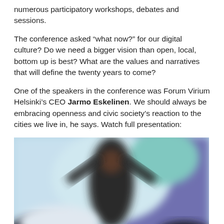numerous participatory workshops, debates and sessions.
The conference asked “what now?” for our digital culture? Do we need a bigger vision than open, local, bottom up is best? What are the values and narratives that will define the twenty years to come?
One of the speakers in the conference was Forum Virium Helsinki’s CEO Jarmo Eskelinen. We should always be embracing openness and civic society’s reaction to the cities we live in, he says. Watch full presentation:
[Figure (photo): A blurred photo of a person (presenter) on a stage with arms raised, in front of a light blue and purple background.]